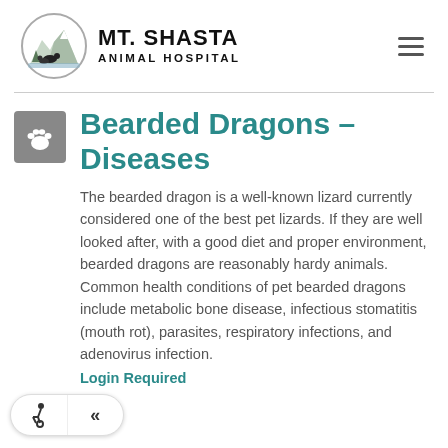[Figure (logo): Mt. Shasta Animal Hospital logo with oval containing mountain and animal silhouettes, and text MT. SHASTA ANIMAL HOSPITAL]
Bearded Dragons – Diseases
The bearded dragon is a well-known lizard currently considered one of the best pet lizards. If they are well looked after, with a good diet and proper environment, bearded dragons are reasonably hardy animals. Common health conditions of pet bearded dragons include metabolic bone disease, infectious stomatitis (mouth rot), parasites, respiratory infections, and adenovirus infection.
Login Required